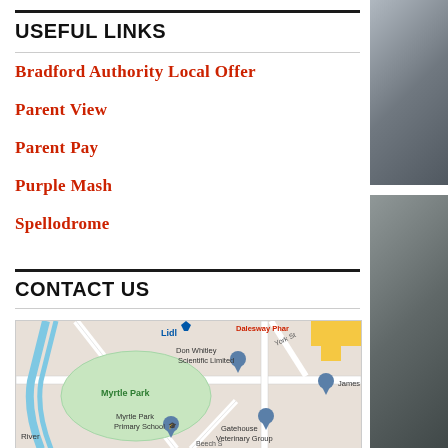USEFUL LINKS
Bradford Authority Local Offer
Parent View
Parent Pay
Purple Mash
Spellodrome
CONTACT US
[Figure (map): Google Maps showing Myrtle Park area, including Myrtle Park Primary School, Don Whitley Scientific Limited, Gatehouse Veterinary Group, James W, Lidl, Dalesway Phar, York St, Beech St, River]